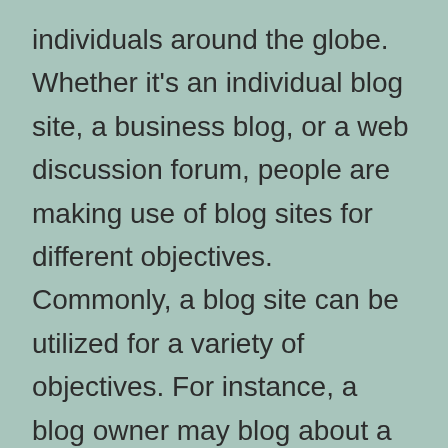individuals around the globe. Whether it's an individual blog site, a business blog, or a web discussion forum, people are making use of blog sites for different objectives. Commonly, a blog site can be utilized for a variety of objectives. For instance, a blog owner may blog about a new services or product. They might additionally intend to share info about their life. These can all be used to construct connections.
The purpose of your blog site need to not be only to generate income. It is not a way to change your full time revenue. It must be a